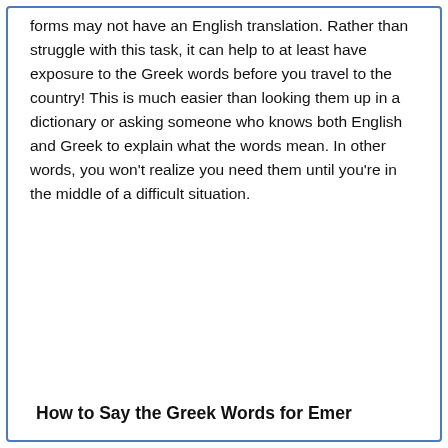forms may not have an English translation. Rather than struggle with this task, it can help to at least have exposure to the Greek words before you travel to the country! This is much easier than looking them up in a dictionary or asking someone who knows both English and Greek to explain what the words mean. In other words, you won't realize you need them until you're in the middle of a difficult situation.
How to Say the Greek Words for Emer...